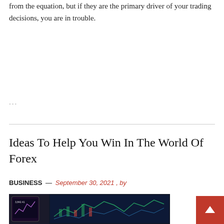from the equation, but if they are the primary driver of your trading decisions, you are in trouble.
...
Ideas To Help You Win In The World Of Forex
BUSINESS — September 30, 2021 , by
[Figure (photo): A person holding a smartphone displaying a trading chart with forex/stock data, with a laptop showing trading screens in the background on a desk.]